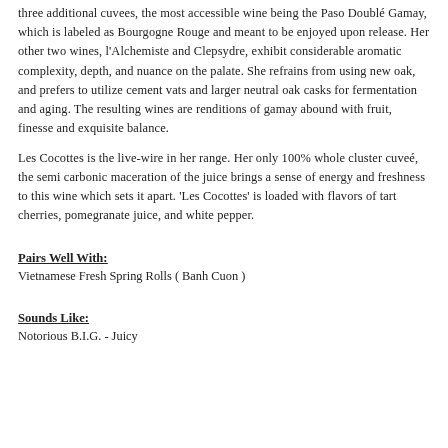three additional cuvees, the most accessible wine being the Paso Doublé Gamay, which is labeled as Bourgogne Rouge and meant to be enjoyed upon release. Her other two wines, l'Alchemiste and Clepsydre, exhibit considerable aromatic complexity, depth, and nuance on the palate. She refrains from using new oak, and prefers to utilize cement vats and larger neutral oak casks for fermentation and aging. The resulting wines are renditions of gamay abound with fruit, finesse and exquisite balance.
Les Cocottes is the live-wire in her range. Her only 100% whole cluster cuveé, the semi carbonic maceration of the juice brings a sense of energy and freshness to this wine which sets it apart.  'Les Cocottes' is loaded with flavors of tart cherries, pomegranate juice, and white pepper.
Pairs Well With:
Vietnamese Fresh Spring Rolls ( Banh Cuon )
Sounds Like:
Notorious B.I.G. - Juicy